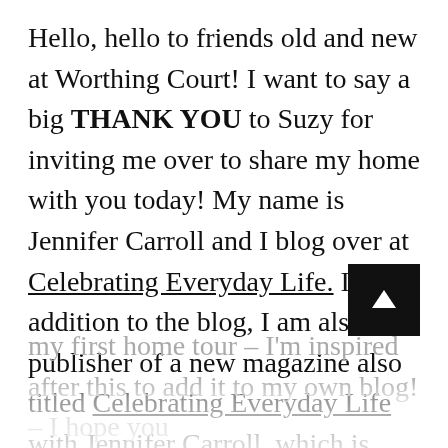Hello, hello to friends old and new at Worthing Court! I want to say a big THANK YOU to Suzy for inviting me over to share my home with you today! My name is Jennifer Carroll and I blog over at Celebrating Everyday Life. In addition to the blog, I am also the publisher of a new magazine also titled Celebrating Everyday Life with Jennifer Carroll, which is launching late next month. But today I'm here to give you a tour of my home. This is my first home tour – I'm inspired after this to add it to my own blog! – I hope you